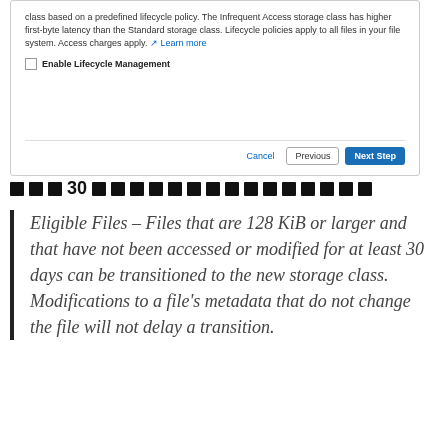[Figure (screenshot): AWS console UI dialog showing lifecycle management text, 'Enable Lifecycle Management' checkbox, and Cancel/Previous/Next Step buttons]
XXX 30 XXXXXXXXXXXXXXXXX
Eligible Files – Files that are 128 KiB or larger and that have not been accessed or modified for at least 30 days can be transitioned to the new storage class. Modifications to a file's metadata that do not change the file will not delay a transition.